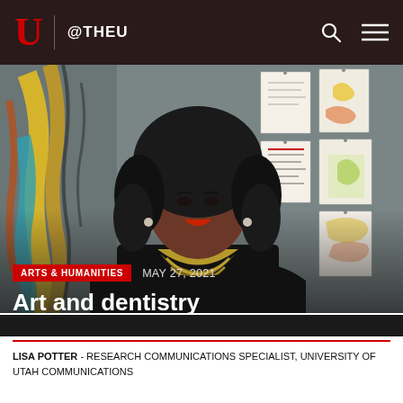U @THEU
[Figure (photo): A woman with curly black hair, wearing a black outfit with gold/black decorative neckline detail, smiling and standing in front of a wall with artwork and papers pinned to it. The artwork includes colorful abstract paintings and printed sheets.]
ARTS & HUMANITIES  MAY 27, 2021
Art and dentistry
LISA POTTER - RESEARCH COMMUNICATIONS SPECIALIST, UNIVERSITY OF UTAH COMMUNICATIONS